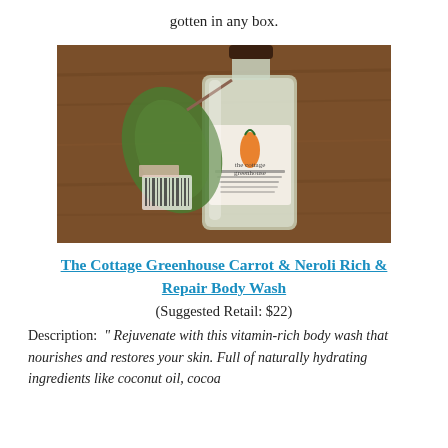gotten in any box.
[Figure (photo): A glass bottle of The Cottage Greenhouse Carrot & Neroli Rich & Repair Body Wash on a wooden surface, with a decorative carrot tag attached to the bottle.]
The Cottage Greenhouse Carrot & Neroli Rich & Repair Body Wash
(Suggested Retail: $22)
Description:  " Rejuvenate with this vitamin-rich body wash that nourishes and restores your skin. Full of naturally hydrating ingredients like coconut oil, cocoa